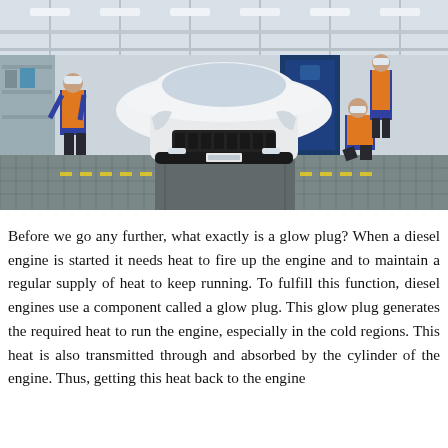[Figure (photo): Automotive factory interior showing a white sedan car (front view) on an assembly/inspection line. Workers in orange high-visibility vests and face masks are working around the vehicle. The factory has a steel-frame ceiling with industrial lighting, and the floor has metal grating with yellow safety markings.]
Before we go any further, what exactly is a glow plug? When a diesel engine is started it needs heat to fire up the engine and to maintain a regular supply of heat to keep running. To fulfill this function, diesel engines use a component called a glow plug. This glow plug generates the required heat to run the engine, especially in the cold regions. This heat is also transmitted through and absorbed by the cylinder of the engine. Thus, getting this heat back to the engine